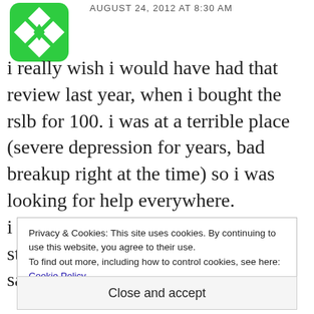[Figure (logo): Green geometric/diamond-pattern logo (Dropbox-style icon)]
AUGUST 24, 2012 AT 8:30 AM
i really wish i would have had that review last year, when i bought the rslb for 100. i was at a terrible place (severe depression for years, bad breakup right at the time) so i was looking for help everywhere.
i did enjoy the podcasts and would still recommend them (on her next sale
Privacy & Cookies: This site uses cookies. By continuing to use this website, you agree to their use.
To find out more, including how to control cookies, see here: Cookie Policy
Close and accept